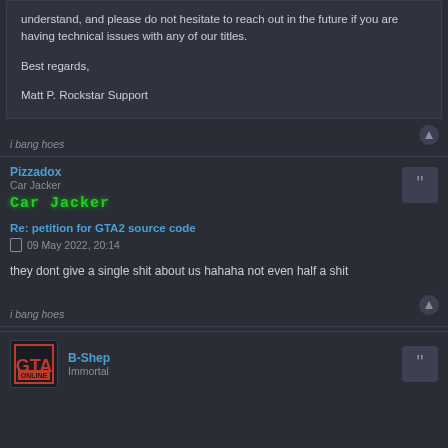understand, and please do not hesitate to reach out in the future if you are having technical issues with any of our titles.

Best regards,

Matt P. Rockstar Support
i bang hoes
Pizzadox
Car Jacker
Car Jacker
Re: petition for GTA2 source code
09 May 2022, 20:14
they dont give a single shit about us hahaha not even half a shit
i bang hoes
B-Shep
Immortal